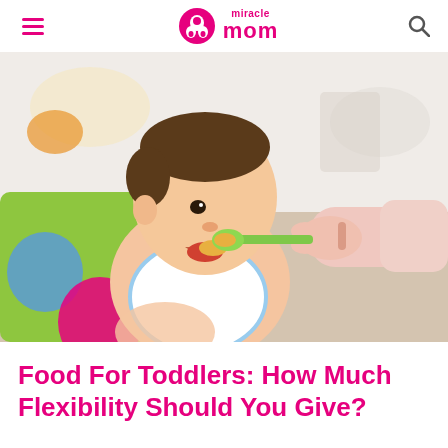miracle mom
[Figure (photo): A baby in a colorful high chair with a white bib being fed with a green spoon by an adult's hand, in a bright kitchen setting.]
Food For Toddlers: How Much Flexibility Should You Give?